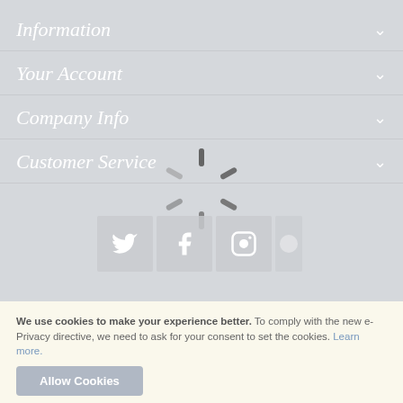Information
Your Account
Company Info
Customer Service
[Figure (other): Loading spinner animation overlay with spinning radial dash pattern, and social media icon buttons below for Twitter, Facebook, and Instagram]
We use cookies to make your experience better. To comply with the new e-Privacy directive, we need to ask for your consent to set the cookies. Learn more.
Allow Cookies